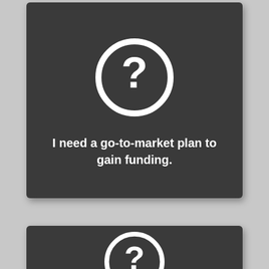[Figure (illustration): Dark rounded rectangle card with a white question mark icon (circle with ? inside) centered near the top, and bold white text below reading 'I need a go-to-market plan to gain funding.']
I need a go-to-market plan to gain funding.
[Figure (illustration): Partial dark rounded rectangle card at bottom of page showing the top portion of a white question mark circle icon, cropped.]